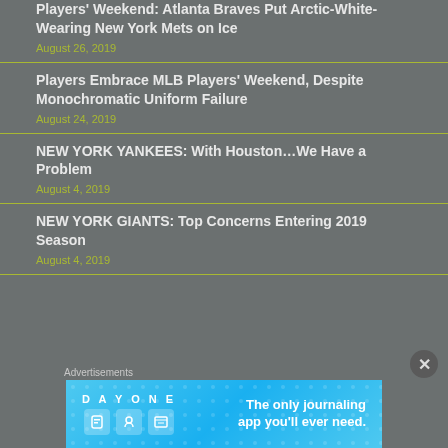Players' Weekend: Atlanta Braves Put Arctic-White-Wearing New York Mets on Ice
August 26, 2019
Players Embrace MLB Players' Weekend, Despite Monochromatic Uniform Failure
August 24, 2019
NEW YORK YANKEES: With Houston…We Have a Problem
August 4, 2019
NEW YORK GIANTS: Top Concerns Entering 2019 Season
August 4, 2019
Advertisements
[Figure (photo): Day One journaling app advertisement banner with blue background, app icon illustrations, and text 'The only journaling app you'll ever need.']